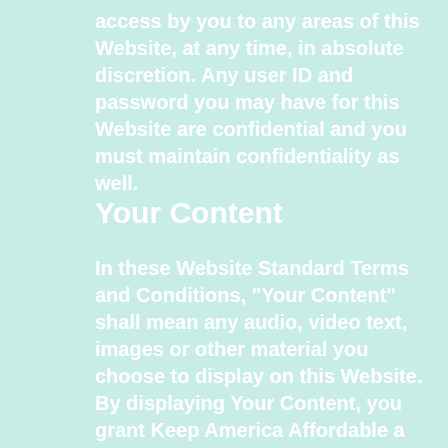access by you to any areas of this Website, at any time, in absolute discretion. Any user ID and password you may have for this Website are confidential and you must maintain confidentiality as well.
Your Content
In these Website Standard Terms and Conditions, "Your Content" shall mean any audio, video text, images or other material you choose to display on this Website. By displaying Your Content, you grant Keep America Affordable a non-exclusive, worldwide irrevocable, sub-licensable license to use,